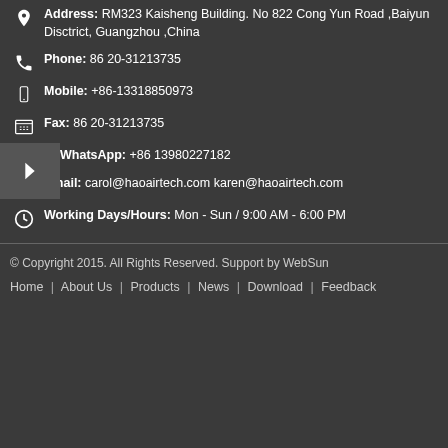Address: RM323 Kaisheng Building. No 822 Cong Yun Road ,Baiyun Disctrict, Guangzhou ,China
Phone: 86 20-31213735
Mobile: +86-13318850973
Fax: 86 20-31213735
WhatsApp: +86 13980227182
Email: carol@haoairtech.com karen@haoairtech.com
Working Days/Hours: Mon - Sun / 9:00 AM - 6:00 PM
© Copyright 2015. All Rights Reserved. Support by WebSun
Home | About Us | Products | News | Download | Feedback